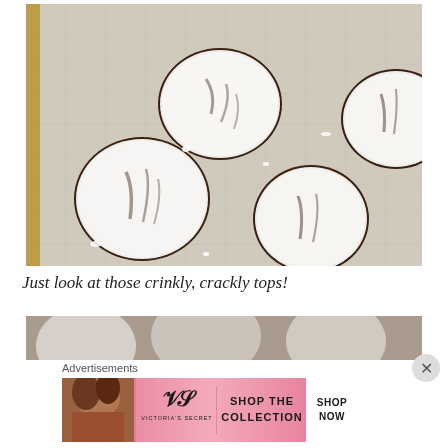[Figure (photo): Overhead view of chocolate crinkle cookies covered in powdered sugar on a baking sheet lined with a silicone mat. The cookies show dark chocolate crinkle cracks through the white powdered sugar coating.]
Just look at those crinkly, crackly tops!
[Figure (photo): Partial view of more chocolate crinkle cookies, blurred/cropped at bottom of page.]
Advertisements
[Figure (other): Victoria's Secret advertisement banner: woman model on left, VS logo in center with 'VICTORIA'S SECRET' text, 'SHOP THE COLLECTION' text, and 'SHOP NOW' white button on right. Pink gradient background.]